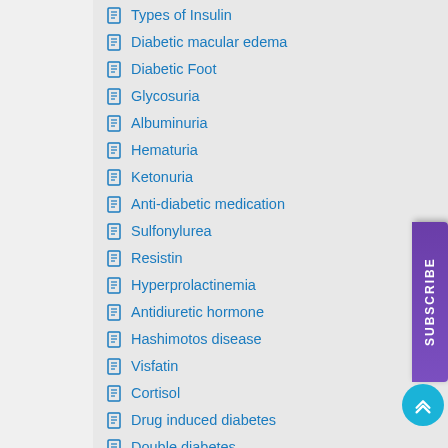Types of Insulin
Diabetic macular edema
Diabetic Foot
Glycosuria
Albuminuria
Hematuria
Ketonuria
Anti-diabetic medication
Sulfonylurea
Resistin
Hyperprolactinemia
Antidiuretic hormone
Hashimotos disease
Visfatin
Cortisol
Drug induced diabetes
Double diabetes
Juvenile diabetes
Type 3 diabetes